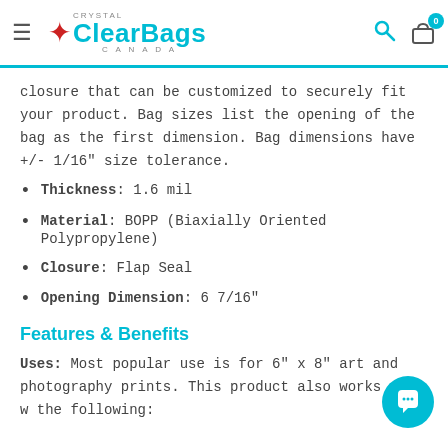Crystal ClearBags Canada — navigation header
closure that can be customized to securely fit your product. Bag sizes list the opening of the bag as the first dimension. Bag dimensions have +/- 1/16" size tolerance.
Thickness: 1.6 mil
Material: BOPP (Biaxially Oriented Polypropylene)
Closure: Flap Seal
Opening Dimension: 6 7/16"
Features & Benefits
Uses: Most popular use is for 6" x 8" art and photography prints. This product also works well w the following: